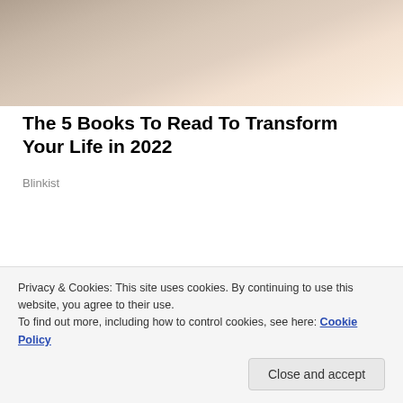[Figure (photo): Partial photo of a woman with dark hair, shown from shoulders up, cropped at the top of the page]
The 5 Books To Read To Transform Your Life in 2022
Blinkist
[Figure (photo): Photo of a smiling woman with curly hair, with an older person visible at left, and a purple curtain in the background]
Privacy & Cookies: This site uses cookies. By continuing to use this website, you agree to their use.
To find out more, including how to control cookies, see here: Cookie Policy